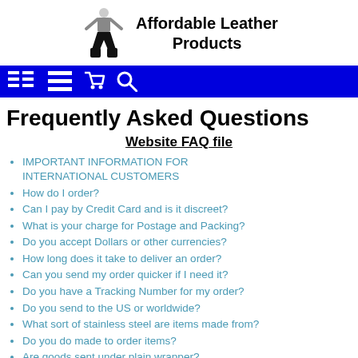[Figure (logo): Affordable Leather Products logo with a figure in black boots and the brand name text]
[Figure (screenshot): Blue navigation bar with menu, list, cart, and search icons in white]
Frequently Asked Questions
Website FAQ file
IMPORTANT INFORMATION FOR INTERNATIONAL CUSTOMERS
How do I order?
Can I pay by Credit Card and is it discreet?
What is your charge for Postage and Packing?
Do you accept Dollars or other currencies?
How long does it take to deliver an order?
Can you send my order quicker if I need it?
Do you have a Tracking Number for my order?
Do you send to the US or worldwide?
What sort of stainless steel are items made from?
Do you do made to order items?
Are goods sent under plain wrapper?